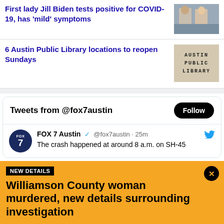First lady Jill Biden tests positive for COVID-19, has 'mild' symptoms
6 Austin Public Library locations to reopen Sundays
Tweets from @fox7austin
FOX 7 Austin @fox7austin · 25m
The crash happened at around 8 a.m. on SH-45
NEW DETAILS
Williamson County woman murdered, new details surrounding investigation
An arrest affidavit has revealed more details surrounding the investigation into the murder of 70-year-old Diana Lynn Pier outside of Florence earlier this month.